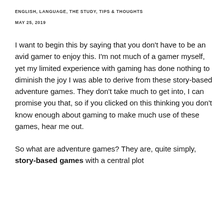ENGLISH, LANGUAGE, THE STUDY, TIPS & THOUGHTS
MAY 25, 2019
I want to begin this by saying that you don't have to be an avid gamer to enjoy this. I'm not much of a gamer myself, yet my limited experience with gaming has done nothing to diminish the joy I was able to derive from these story-based adventure games. They don't take much to get into, I can promise you that, so if you clicked on this thinking you don't know enough about gaming to make much use of these games, hear me out.
So what are adventure games? They are, quite simply, story-based games with a central plot